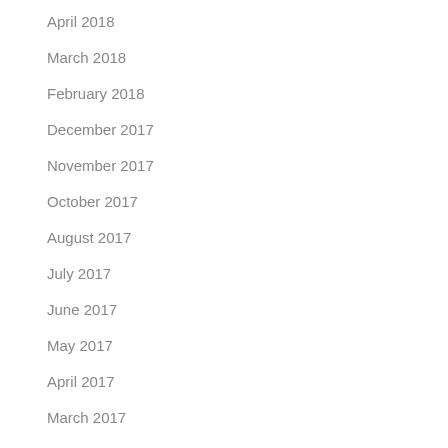April 2018
March 2018
February 2018
December 2017
November 2017
October 2017
August 2017
July 2017
June 2017
May 2017
April 2017
March 2017
February 2017